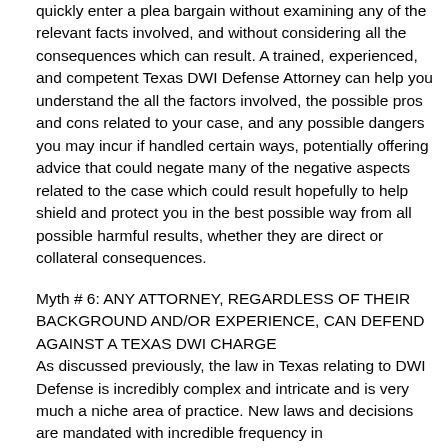quickly enter a plea bargain without examining any of the relevant facts involved, and without considering all the consequences which can result. A trained, experienced, and competent Texas DWI Defense Attorney can help you understand the all the factors involved, the possible pros and cons related to your case, and any possible dangers you may incur if handled certain ways, potentially offering advice that could negate many of the negative aspects related to the case which could result hopefully to help shield and protect you in the best possible way from all possible harmful results, whether they are direct or collateral consequences.
Myth # 6: ANY ATTORNEY, REGARDLESS OF THEIR BACKGROUND AND/OR EXPERIENCE, CAN DEFEND AGAINST A TEXAS DWI CHARGE
As discussed previously, the law in Texas relating to DWI Defense is incredibly complex and intricate and is very much a niche area of practice. New laws and decisions are mandated with incredible frequency in